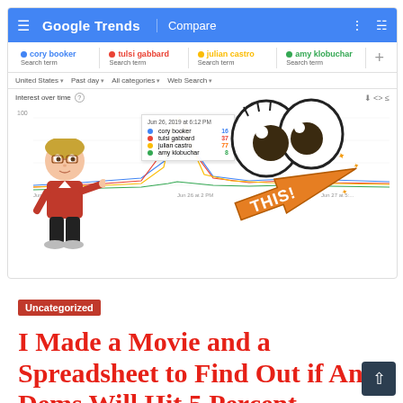[Figure (screenshot): Google Trends screenshot comparing search terms: cory booker, tulsi gabbard, julian castro, and amy klobuchar. Shows interest over time chart with a tooltip dated Jun 26, 2019 at 6:12 PM showing values: cory booker 16, tulsi gabbard 37, julian castro 77, amy klobuchar 8. Cartoon Bitmoji character on left pointing, cartoon big eyes and 'THIS!' graphic overlay on right.]
Uncategorized
I Made a Movie and a Spreadsheet to Find Out if Any Dems Will Hit 5 Percent